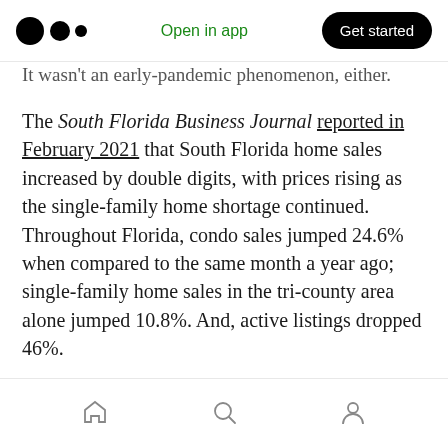Medium logo | Open in app | Get started
It wasn't an early-pandemic phenomenon, either. The South Florida Business Journal reported in February 2021 that South Florida home sales increased by double digits, with prices rising as the single-family home shortage continued. Throughout Florida, condo sales jumped 24.6% when compared to the same month a year ago; single-family home sales in the tri-county area alone jumped 10.8%. And, active listings dropped 46%.
A New Horizon
Home | Search | Profile